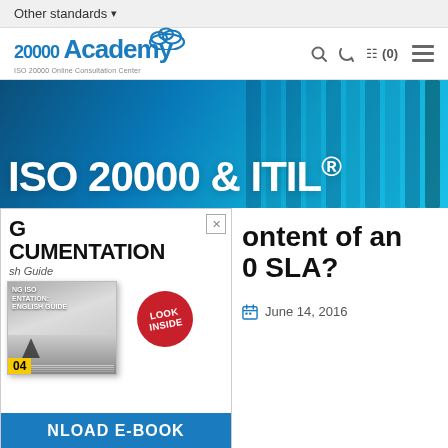Other standards ▾
[Figure (logo): 20000Academy logo with cloud icon and text 'ISO 20000 Online Consultation Center']
ISO 20000 & ITIL®
[Figure (screenshot): Popup ad showing partial text 'G CUMENTATION sh Guide' with book cover image and 'LOOK INSIDE' red circle badge, and 'NLOAD E-BOOK' blue CTA button]
ontent of an 0 SLA?
June 14, 2016